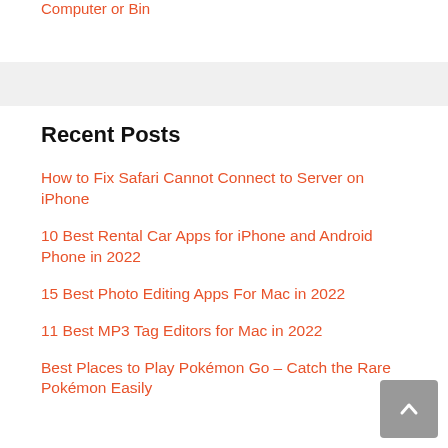Computer or Bin
Recent Posts
How to Fix Safari Cannot Connect to Server on iPhone
10 Best Rental Car Apps for iPhone and Android Phone in 2022
15 Best Photo Editing Apps For Mac in 2022
11 Best MP3 Tag Editors for Mac in 2022
Best Places to Play Pokémon Go – Catch the Rare Pokémon Easily